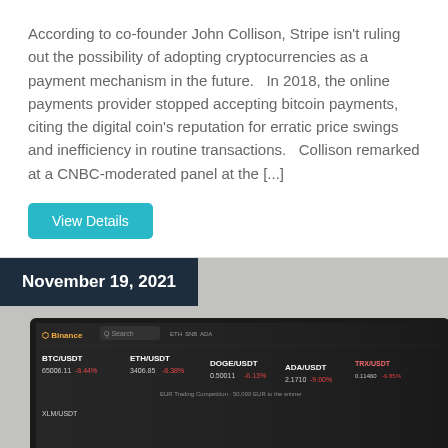According to co-founder John Collison, Stripe isn't ruling out the possibility of adopting cryptocurrencies as a payment mechanism in the future.   In 2018, the online payments provider stopped accepting bitcoin payments, citing the digital coin's reputation for erratic price swings and inefficiency in routine transactions.   Collison remarked at a CNBC-moderated panel at the [...]
View Details
[Figure (photo): Photo of a computer monitor displaying the Binance cryptocurrency exchange interface, showing trading pairs including BTC/USDT, ETH/USDT, DOGE/USDT, ADA/USDT, with red percentage changes. Date badge overlay shows November 19, 2021.]